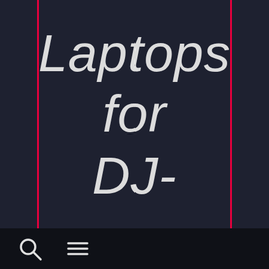Laptops for DJ-
[Figure (other): Search icon (magnifying glass) and hamburger menu icon in a dark bottom navigation bar]